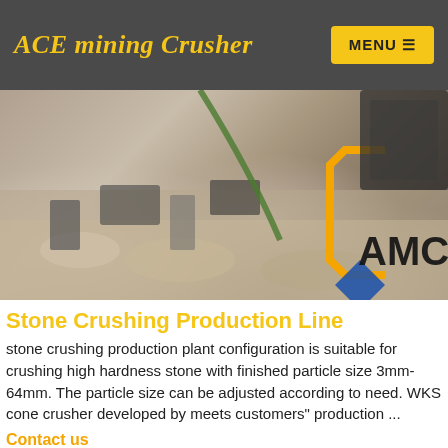ACE mining Crusher | MENU
[Figure (photo): Mining site banner image with construction equipment, rocks and debris on ground, with AMC logo (orange bracket and bold text) in lower right corner]
Stone Crushing Production Line
stone crushing production plant configuration is suitable for crushing high hardness stone with finished particle size 3mm-64mm. The particle size can be adjusted according to need. WKS cone crusher developed by meets customers" production ...
Contact us
[Figure (photo): Bottom banner image showing crushed stone/rock pieces on left and red equipment on right]